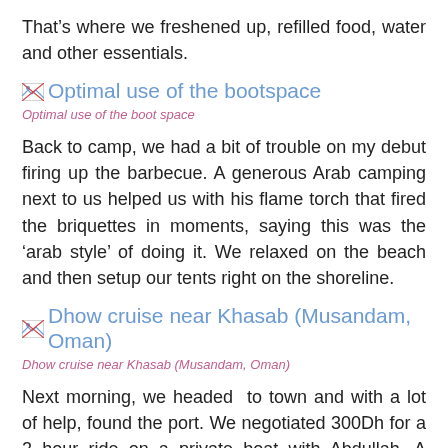That’s where we freshened up, refilled food, water and other essentials.
[Figure (photo): Optimal use of the bootspace — image placeholder with broken image icon]
Optimal use of the boot space
Back to camp, we had a bit of trouble on my debut firing up the barbecue. A generous Arab camping next to us helped us with his flame torch that fired the briquettes in moments, saying this was the ‘arab style’ of doing it. We relaxed on the beach and then setup our tents right on the shoreline.
[Figure (photo): Dhow cruise near Khasab (Musandam, Oman) — image placeholder with broken image icon]
Dhow cruise near Khasab (Musandam, Oman)
Next morning, we headed to town and with a lot of help, found the port. We negotiated 300Dh for a 2 hour ride on a private boat with Abdullah. A portion of the ocean…